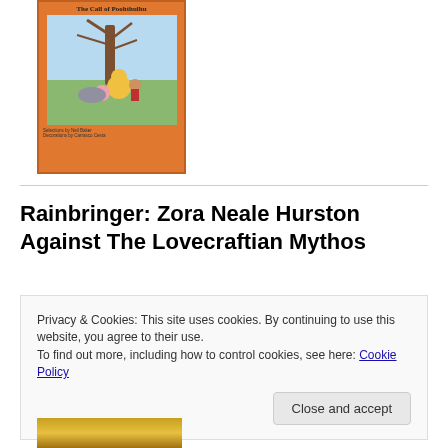[Figure (illustration): Book cover of 'The Call of Poohthulhu' with an orange border, illustrated scene of Winnie the Pooh characters under a bare tree, with small text at bottom reading 'Selections by Neil Baker, Decorations by Carrasco Cesta']
Rainbringer: Zora Neale Hurston Against The Lovecraftian Mythos
[Figure (illustration): Partial view of a book cover with red and orange background, showing stylized text 'RAINBRINGER' in yellow lettering]
Privacy & Cookies: This site uses cookies. By continuing to use this website, you agree to their use.
To find out more, including how to control cookies, see here: Cookie Policy
[Figure (illustration): Partial view of a book cover with yellow/gold tones at the bottom of the page]